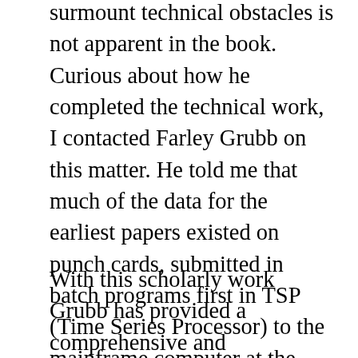surmount technical obstacles is not apparent in the book. Curious about how he completed the technical work, I contacted Farley Grubb on this matter. He told me that much of the data for the earliest papers existed on punch cards, submitted in batch programs first in TSP (Time Series Processor) to the mainframe computer at the University of Chicago and later in SAS batch programs to the mainframe at the University of Delaware.? Grubb explained further how some of the graphs were produce: ?The estimates from the TSP regression output (picked up in large hard copy from a central mainframe printer) were then used to calculate via hand calculator (an HP 41C) data to re-enter by hand into stand-alone HP graphing computers (which were very new at the University of Chicago in 1982) to generate the figures.? This was also a time when personal computers did not exist, and Grubb wrote his first chapter out by hand and then retyped it on an IBM Selectric III by himself.
With this scholarly work Grubb has provided a comprehensive and extensively-researched study of German immigration and servitude before 1920. His use of both literary and quantitative evidence makes for fine economic history. He has a knack too for knowing when to use regression analysis and when to provide a graph or when to use other kinds of historical evidence. He explains how an immigrant minority helped shape the early part of Pennsylvania history in terms of